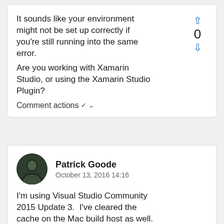It sounds like your environment might not be set up correctly if you're still running into the same error.
Are you working with Xamarin Studio, or using the Xamarin Studio Plugin?
Comment actions
Patrick Goode
October 13, 2016 14:16
I'm using Visual Studio Community 2015 Update 3.  I've cleared the cache on the Mac build host as well.  I'm not sure what 'environment' is